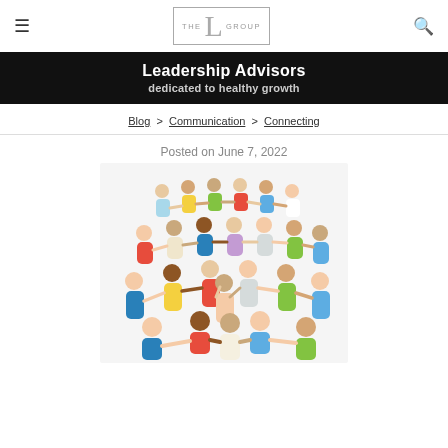THE L GROUP (logo) | hamburger menu | search icon
Leadership Advisors
dedicated to healthy growth
Blog > Communication > Connecting
Posted on June 7, 2022
[Figure (photo): Large group of diverse people holding hands in a circle, viewed from above, on white background]